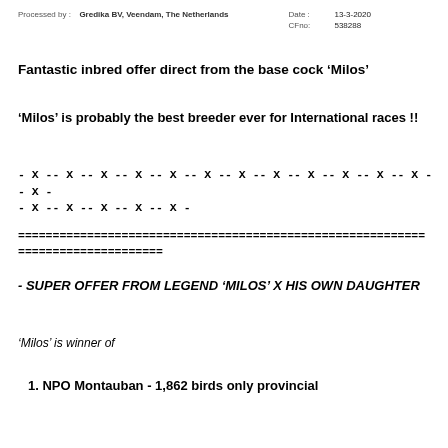Processed by :   Gredika BV, Veendam, The Netherlands    Date : 13-3-2020   CFno: 538288
Fantastic inbred offer direct from the base cock ‘Milos’
‘Milos’ is probably the best breeder ever for International races !!
- X -- X -- X -- X -- X -- X -- X -- X -- X -- X -- X -- X -- X - - X -- X -- X -- X -- X -
===========================================================
=====================
- SUPER OFFER FROM LEGEND ‘MILOS’ X HIS OWN DAUGHTER
‘Milos’ is winner of
1. NPO Montauban - 1,862 birds only provincial